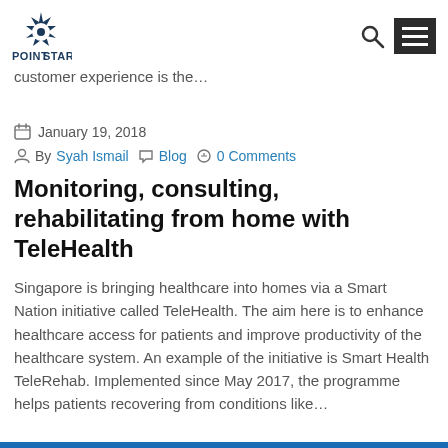POINTSTAR
customer experience is the...
January 19, 2018
By Syah Ismail  Blog  0 Comments
Monitoring, consulting, rehabilitating from home with TeleHealth
Singapore is bringing healthcare into homes via a Smart Nation initiative called TeleHealth. The aim here is to enhance healthcare access for patients and improve productivity of the healthcare system. An example of the initiative is Smart Health TeleRehab. Implemented since May 2017, the programme helps patients recovering from conditions like...